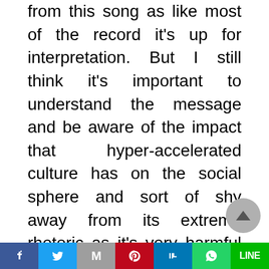from this song as like most of the record it's up for interpretation. But I still think it's important to understand the message and be aware of the impact that hyper-accelerated culture has on the social sphere and sort of shy away from its extreme rhetoric as it's very harmful and doesn't really contain any substance. Also to understand that as much confidence as I had writing the lyrics, there is still a naivety that comes with writing about a subject like this because no matter how much we think we can understand something, the fears start to set it when you realize how deep the complexity of everything gets, which ultimately is why I mask it with campy horror elements so the seriousness doesn't become too front and centre.